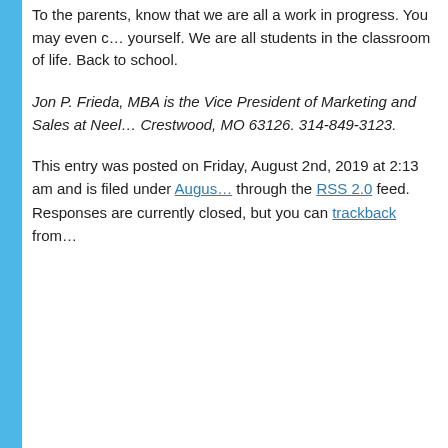To the parents, know that we are all a work in progress. You may even c... yourself. We are all students in the classroom of life. Back to school.
Jon P. Frieda, MBA is the Vice President of Marketing and Sales at Neel... Crestwood, MO 63126. 314-849-3123.
This entry was posted on Friday, August 2nd, 2019 at 2:13 am and is filed under Augus... through the RSS 2.0 feed. Responses are currently closed, but you can trackback from...